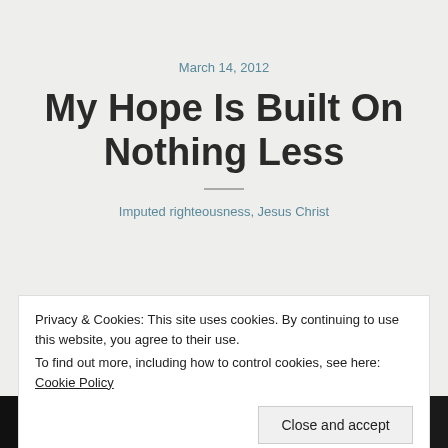March 14, 2012
My Hope Is Built On Nothing Less
Imputed righteousness, Jesus Christ
Privacy & Cookies: This site uses cookies. By continuing to use this website, you agree to their use.
To find out more, including how to control cookies, see here: Cookie Policy
Close and accept
righteousness? No,